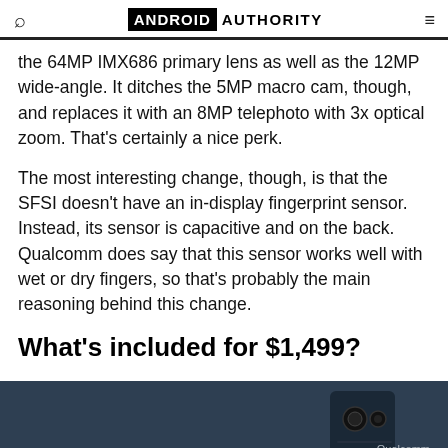ANDROID AUTHORITY
the 64MP IMX686 primary lens as well as the 12MP wide-angle. It ditches the 5MP macro cam, though, and replaces it with an 8MP telephoto with 3x optical zoom. That's certainly a nice perk.
The most interesting change, though, is that the SFSI doesn't have an in-display fingerprint sensor. Instead, its sensor is capacitive and on the back. Qualcomm does say that this sensor works well with wet or dry fingers, so that's probably the main reasoning behind this change.
What's included for $1,499?
[Figure (photo): Dark blue background with a partial view of a smartphone camera module on the right side. 'Qualcomm' text label visible in lower right corner.]